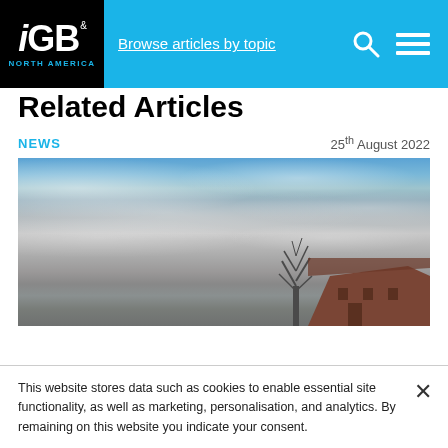iGB North America — Browse articles by topic
Related Articles
NEWS   25th August 2022
[Figure (photo): Overcast grey sky with clouds, a bare tree silhouette and a red brick building visible at the bottom right]
This website stores data such as cookies to enable essential site functionality, as well as marketing, personalisation, and analytics. By remaining on this website you indicate your consent.